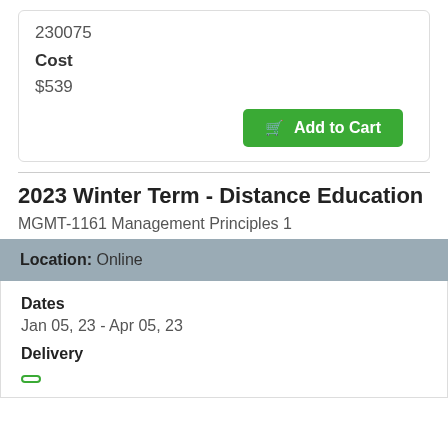230075
Cost
$539
Add to Cart
2023 Winter Term - Distance Education
MGMT-1161 Management Principles 1
Location: Online
Dates
Jan 05, 23 - Apr 05, 23
Delivery